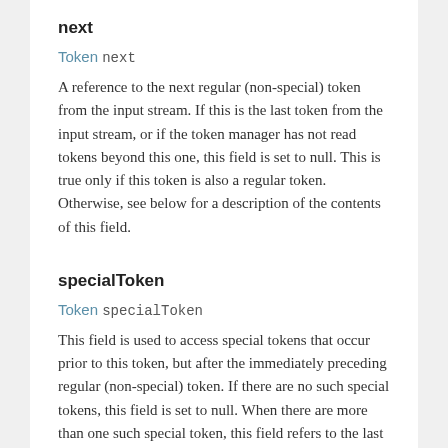next
Token next
A reference to the next regular (non-special) token from the input stream. If this is the last token from the input stream, or if the token manager has not read tokens beyond this one, this field is set to null. This is true only if this token is also a regular token. Otherwise, see below for a description of the contents of this field.
specialToken
Token specialToken
This field is used to access special tokens that occur prior to this token, but after the immediately preceding regular (non-special) token. If there are no such special tokens, this field is set to null. When there are more than one such special token, this field refers to the last of